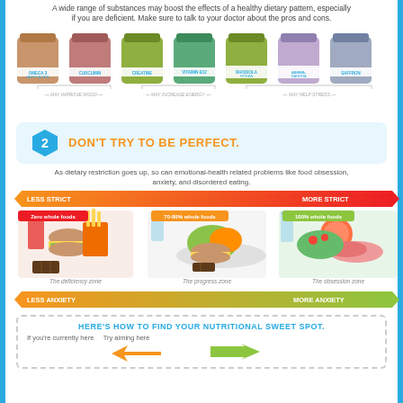A wide range of substances may boost the effects of a healthy dietary pattern, especially if you are deficient. Make sure to talk to your doctor about the pros and cons.
[Figure (infographic): Seven supplement jars labeled: Omega 3 Fatty Acids, Curcumin, Creatine, Vitamin B12, Rhodiola Rosea, Ashwagandha, Saffron. Below the jars are bracket labels: May Improve Mood (first two), May Increase Energy (middle two), May Help Stress (last three).]
[Figure (infographic): Section 2 header with hexagon numbered '2' and title 'DON'T TRY TO BE PERFECT.' in orange on light blue background.]
As dietary restriction goes up, so can emotional-health related problems like food obsession, anxiety, and disordered eating.
[Figure (infographic): A horizontal strictness spectrum with arrows: LESS STRICT on left (orange) to MORE STRICT on right (red). Three food images shown: 'Zero whole foods' (junk food - the deficiency zone), '70-80% whole foods' (mixed food - the progress zone), '100% whole foods' (healthy food - the obsession zone). Below: LESS ANXIETY (left, orange arrow) to MORE ANXIETY (right, green arrow).]
HERE'S HOW TO FIND YOUR NUTRITIONAL SWEET SPOT.
If you're currently here    Try aiming here